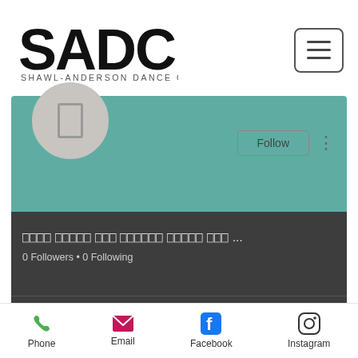[Figure (logo): Shawl-Anderson Dance Center (SADC) logo with large stylized letters and smaller text beneath]
[Figure (screenshot): Social media profile card with teal banner, gray circle avatar with rectangle icon, Follow button, three-dot menu, garbled text username, 0 Followers • 0 Following, divider line, and chevron down arrow]
[Figure (infographic): Bottom navigation bar with Phone (green phone icon), Email (pink envelope icon), Facebook (blue Facebook icon), Instagram (black Instagram icon)]